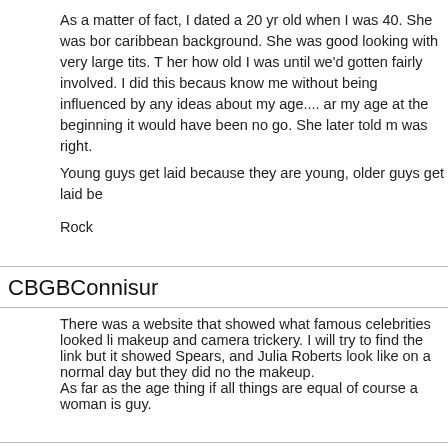As a matter of fact, I dated a 20 yr old when I was 40. She was born caribbean background. She was good looking with very large tits. T her how old I was until we'd gotten fairly involved. I did this becaus know me without being influenced by any ideas about my age.... an my age at the beginning it would have been no go. She later told m was right.
Young guys get laid because they are young, older guys get laid be
Rock
CBGBConnisur
There was a website that showed what famous celebrities looked li makeup and camera trickery. I will try to find the link but it showed Spears, and Julia Roberts look like on a normal day but they did no the makeup.
As far as the age thing if all things are equal of course a woman is guy.
Sinanju Master
clarification